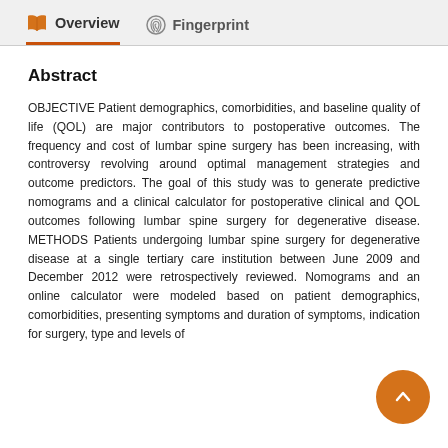Overview   Fingerprint
Abstract
OBJECTIVE Patient demographics, comorbidities, and baseline quality of life (QOL) are major contributors to postoperative outcomes. The frequency and cost of lumbar spine surgery has been increasing, with controversy revolving around optimal management strategies and outcome predictors. The goal of this study was to generate predictive nomograms and a clinical calculator for postoperative clinical and QOL outcomes following lumbar spine surgery for degenerative disease. METHODS Patients undergoing lumbar spine surgery for degenerative disease at a single tertiary care institution between June 2009 and December 2012 were retrospectively reviewed. Nomograms and an online calculator were modeled based on patient demographics, comorbidities, presenting symptoms and duration of symptoms, indication for surgery, type and levels of